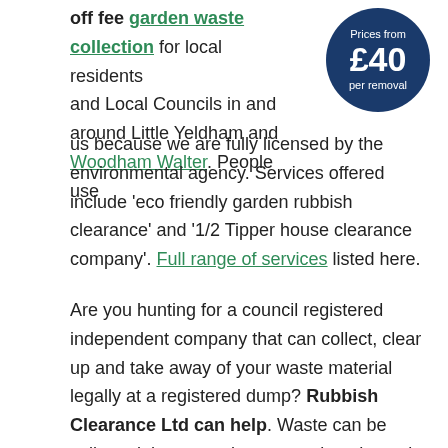[Figure (infographic): Dark blue circular badge with white text: 'Prices from £40 per removal']
off fee garden waste collection for local residents and Local Councils in and around Little Yeldham and Woodham Walter. People use us because we are fully licensed by the environmental agency. Services offered include 'eco friendly garden rubbish clearance' and '1/2 Tipper house clearance company'. Full range of services listed here.
Are you hunting for a council registered independent company that can collect, clear up and take away of your waste material legally at a registered dump? Rubbish Clearance Ltd can help. Waste can be collected the same day or at a time that suits you. Make your booking